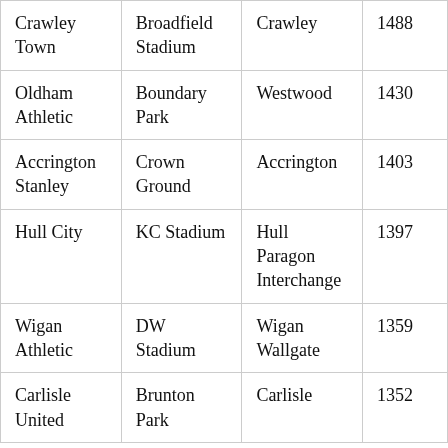| Crawley Town | Broadfield Stadium | Crawley | 1488 |
| Oldham Athletic | Boundary Park | Westwood | 1430 |
| Accrington Stanley | Crown Ground | Accrington | 1403 |
| Hull City | KC Stadium | Hull Paragon Interchange | 1397 |
| Wigan Athletic | DW Stadium | Wigan Wallgate | 1359 |
| Carlisle United | Brunton Park | Carlisle | 1352 |